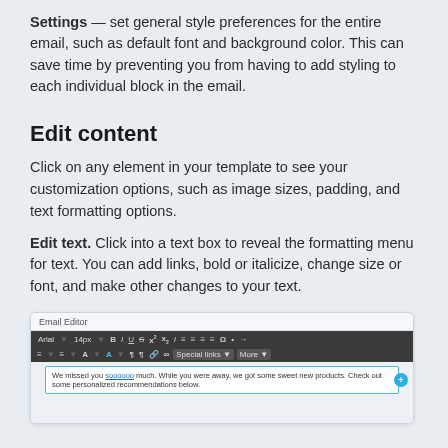Settings — set general style preferences for the entire email, such as default font and background color. This can save time by preventing you from having to add styling to each individual block in the email.
Edit content
Click on any element in your template to see your customization options, such as image sizes, padding, and text formatting options.
Edit text. Click into a text box to reveal the formatting menu for text. You can add links, bold or italicize, change size or font, and make other changes to your text.
[Figure (screenshot): Screenshot of an Email Editor interface showing a text formatting toolbar with options like Arial font, 14px size, Bold, Italic, Underline, Strikethrough, superscript, subscript, alignment buttons, Omega symbol, Special links, and More. A text editing area shows sample text: 'We missed you soooooo much. While you were away, we got some sweet new products. Check out some personalized recommendations below.' with a blue plus button on the right.]